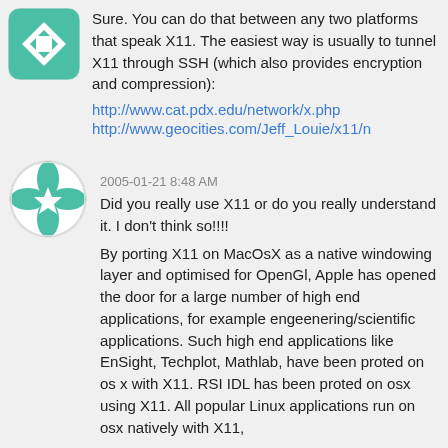[Figure (illustration): Teal/green geometric quilt-pattern avatar in a rounded square shape]
Sure. You can do that between any two platforms that speak X11. The easiest way is usually to tunnel X11 through SSH (which also provides encryption and compression):
http://www.cat.pdx.edu/network/x.php
http://www.geocities.com/Jeff_Louie/x11/n
[Figure (illustration): Teal/green geometric star/cross pattern avatar in a circle]
2005-01-21 8:48 AM
Did you really use X11 or do you really understand it. I don't think so!!!!
By porting X11 on MacOsX as a native windowing layer and optimised for OpenGl, Apple has opened the door for a large number of high end applications, for example engeenering/scientific applications. Such high end applications like EnSight, Techplot, Mathlab, have been proted on os x with X11. RSI IDL has been proted on osx using X11. All popular Linux applications run on osx natively with X11,